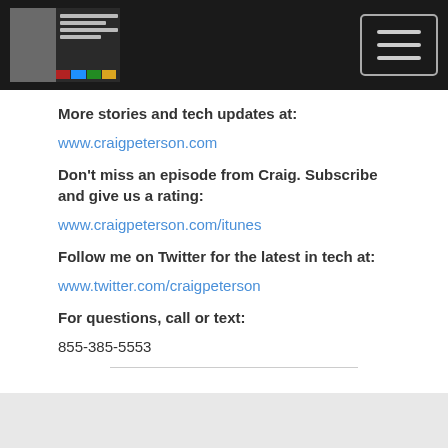Craig Peterson - Information Security Officer (logo and navigation)
More stories and tech updates at:
www.craigpeterson.com
Don't miss an episode from Craig. Subscribe and give us a rating:
www.craigpeterson.com/itunes
Follow me on Twitter for the latest in tech at:
www.twitter.com/craigpeterson
For questions, call or text:
855-385-5553